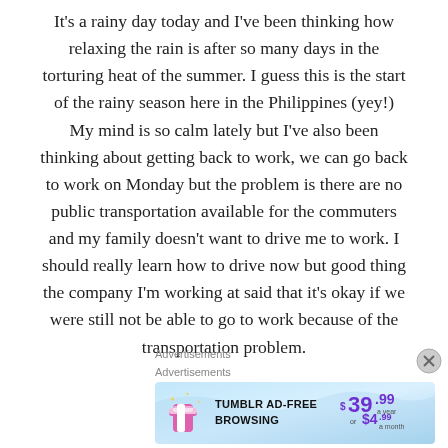It's a rainy day today and I've been thinking how relaxing the rain is after so many days in the torturing heat of the summer. I guess this is the start of the rainy season here in the Philippines (yey!) My mind is so calm lately but I've also been thinking about getting back to work, we can go back to work on Monday but the problem is there are no public transportation available for the commuters and my family doesn't want to drive me to work. I should really learn how to drive now but good thing the company I'm working at said that it's okay if we were still not be able to go to work because of the transportation problem.
Advertisements
Advertisements
[Figure (screenshot): Tumblr ad-free browsing advertisement banner showing Tumblr logo, text 'TUMBLR AD-FREE BROWSING', price $39.99 a year or $4.99 a month]